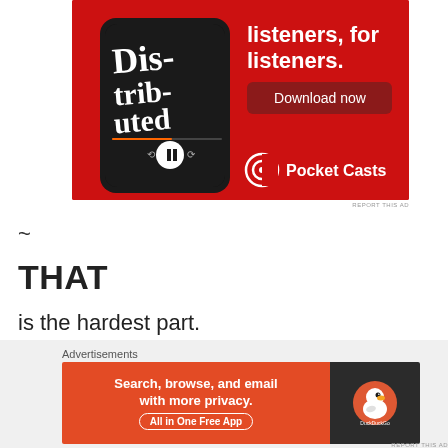[Figure (illustration): Pocket Casts advertisement banner with red background, showing a smartphone with 'Distributed' podcast playing, text reading 'listeners, for listeners.' with a 'Download now' button and the Pocket Casts logo]
REPORT THIS AD
~
THAT
is the hardest part.
Advertisements
[Figure (illustration): DuckDuckGo advertisement banner with orange/dark background, text reading 'Search, browse, and email with more privacy. All in One Free App' with DuckDuckGo duck logo]
REPORT THIS AD